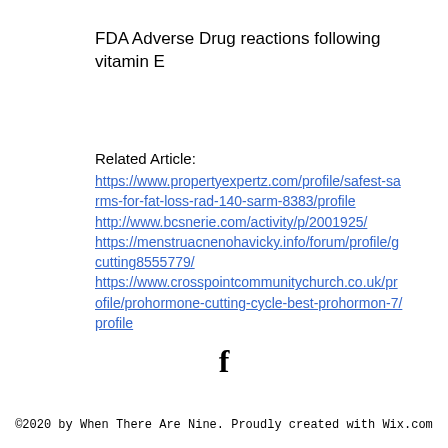FDA Adverse Drug reactions following vitamin E
Related Article:
https://www.propertyexpertz.com/profile/safest-sarms-for-fat-loss-rad-140-sarm-8383/profile http://www.bcsnerie.com/activity/p/2001925/ https://menstruacnenohavicky.info/forum/profile/gcutting8555779/ https://www.crosspointcommunitychurch.co.uk/profile/prohormone-cutting-cycle-best-prohormon-7/profile
[Figure (illustration): Facebook icon (letter f in bold)]
©2020 by When There Are Nine. Proudly created with Wix.com